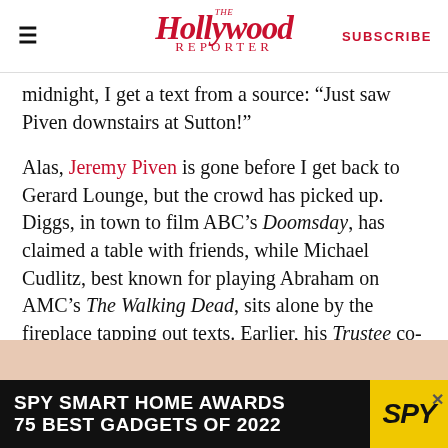The Hollywood Reporter — SUBSCRIBE
midnight, I get a text from a source: “Just saw Piven downstairs at Sutton!”
Alas, Jeremy Piven is gone before I get back to Gerard Lounge, but the crowd has picked up. Diggs, in town to film ABC’s Doomsday, has claimed a table with friends, while Michael Cudlitz, best known for playing Abraham on AMC’s The Walking Dead, sits alone by the fireplace tapping out texts. Earlier, his Trustee co-star Rath had told me that they had met the dwarfs from Once Upon a Time at the bar.
[Figure (photo): Skin-toned background photo (partially visible) with an advertisement overlay: SPY SMART HOME AWARDS / 75 BEST GADGETS OF 2022, black banner with yellow SPY logo on right, close X button.]